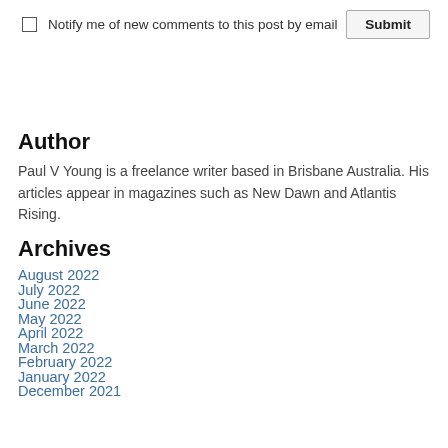Notify me of new comments to this post by email
Author
Paul V Young is a freelance writer based in Brisbane Australia. His articles appear in magazines such as New Dawn and Atlantis Rising.
Archives
August 2022
July 2022
June 2022
May 2022
April 2022
March 2022
February 2022
January 2022
December 2021